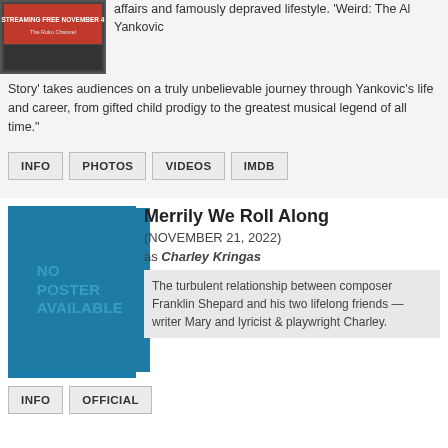[Figure (photo): Movie poster thumbnail for Weird: The Al Yankovic Story, showing streaming free November 4 on The Roku Channel]
affairs and famously depraved lifestyle. 'Weird: The Al Yankovic Story' takes audiences on a truly unbelievable journey through Yankovic's life and career, from gifted child prodigy to the greatest musical legend of all time."
INFO
PHOTOS
VIDEOS
IMDB
[Figure (other): No poster available placeholder image in dark teal/blue color with text NO POSTER AVAILABLE]
Merrily We Roll Along
(NOVEMBER 21, 2022)
as Charley Kringas
The turbulent relationship between composer Franklin Shepard and his two lifelong friends — writer Mary and lyricist & playwright Charley.
INFO
OFFICIAL